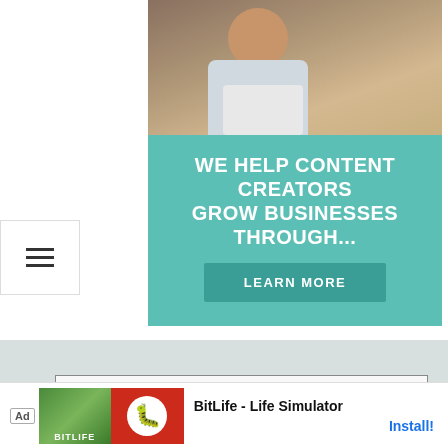[Figure (photo): Woman smiling and looking at a laptop in a cafe setting]
WE HELP CONTENT CREATORS GROW BUSINESSES THROUGH...
LEARN MORE
Privacy & Cookies: This site uses cookies. By continuing to use this website, you agree to their use.
To find out more, including how to control cookies, see here: Cookie Policy
[Figure (infographic): BitLife - Life Simulator advertisement banner with app icons]
BitLife - Life Simulator
Install!